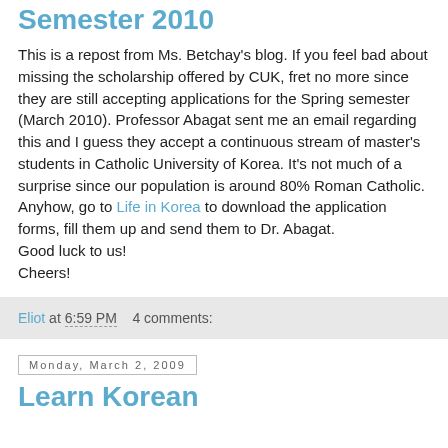Semester 2010
This is a repost from Ms. Betchay's blog. If you feel bad about missing the scholarship offered by CUK, fret no more since they are still accepting applications for the Spring semester (March 2010). Professor Abagat sent me an email regarding this and I guess they accept a continuous stream of master's students in Catholic University of Korea. It's not much of a surprise since our population is around 80% Roman Catholic. Anyhow, go to Life in Korea to download the application forms, fill them up and send them to Dr. Abagat.
Good luck to us!
Cheers!
Eliot at 6:59 PM    4 comments:
Monday, March 2, 2009
Learn Korean